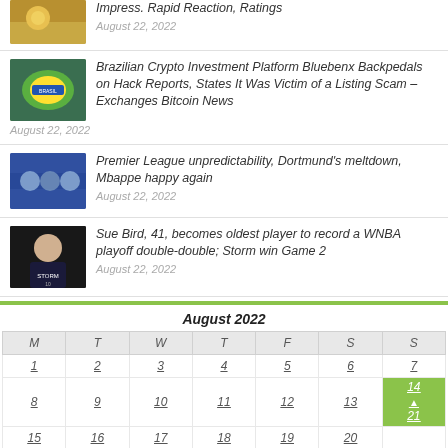Impress. Rapid Reaction, Ratings
August 22, 2022
Brazilian Crypto Investment Platform Bluebenx Backpedals on Hack Reports, States It Was Victim of a Listing Scam – Exchanges Bitcoin News
August 22, 2022
Premier League unpredictability, Dortmund's meltdown, Mbappe happy again
August 22, 2022
Sue Bird, 41, becomes oldest player to record a WNBA playoff double-double; Storm win Game 2
August 22, 2022
August 2022
| M | T | W | T | F | S | S |
| --- | --- | --- | --- | --- | --- | --- |
| 1 | 2 | 3 | 4 | 5 | 6 | 7 |
| 8 | 9 | 10 | 11 | 12 | 13 | 14
21 |
| 15 | 16 | 17 | 18 | 19 | 20 |  |
| 22 | 23 | 24 | 25 | 26 | 27 | 28 |